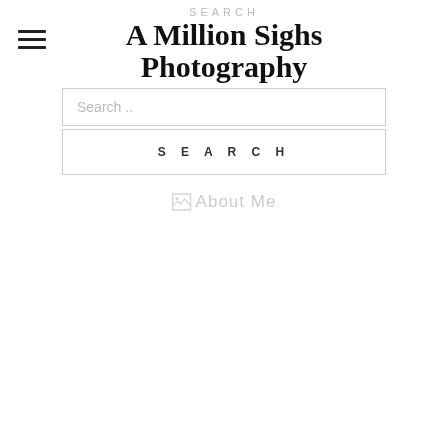Search
A Million Sighs Photography
Search ...
SEARCH
About Me